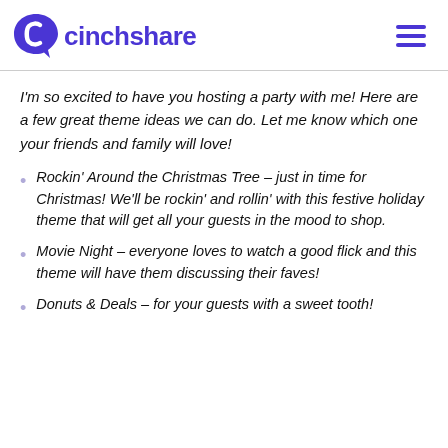cinchshare
I'm so excited to have you hosting a party with me! Here are a few great theme ideas we can do. Let me know which one your friends and family will love!
Rockin' Around the Christmas Tree – just in time for Christmas! We'll be rockin' and rollin' with this festive holiday theme that will get all your guests in the mood to shop.
Movie Night – everyone loves to watch a good flick and this theme will have them discussing their faves!
Donuts & Deals – for your guests with a sweet tooth!